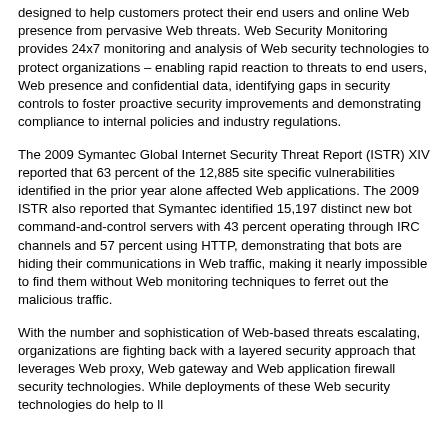designed to help customers protect their end users and online Web presence from pervasive Web threats. Web Security Monitoring provides 24x7 monitoring and analysis of Web security technologies to protect organizations – enabling rapid reaction to threats to end users, Web presence and confidential data, identifying gaps in security controls to foster proactive security improvements and demonstrating compliance to internal policies and industry regulations.
The 2009 Symantec Global Internet Security Threat Report (ISTR) XIV reported that 63 percent of the 12,885 site specific vulnerabilities identified in the prior year alone affected Web applications. The 2009 ISTR also reported that Symantec identified 15,197 distinct new bot command-and-control servers with 43 percent operating through IRC channels and 57 percent using HTTP, demonstrating that bots are hiding their communications in Web traffic, making it nearly impossible to find them without Web monitoring techniques to ferret out the malicious traffic.
With the number and sophistication of Web-based threats escalating, organizations are fighting back with a layered security approach that leverages Web proxy, Web gateway and Web application firewall security technologies. While deployments of these Web security technologies do help to ll...